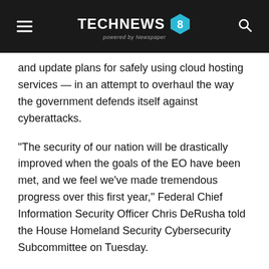TECHNEWS 8 powered by Newspaper
and update plans for safely using cloud hosting services — in an attempt to overhaul the way the government defends itself against cyberattacks.
“The security of our nation will be drastically improved when the goals of the EO have been met, and we feel we’ve made tremendous progress over this first year,” Federal Chief Information Security Officer Chris DeRusha told the House Homeland Security Cybersecurity Subcommittee on Tuesday.
Eric Goldstein, the head of the Cybersecurity and Infrastructure Security Agency’s cyber division, said the order “took important steps” toward changing how the government handles cybersecurity. But “we have a tremendous amount of more work to do” on digital investment and modernization within the organization, he also added.